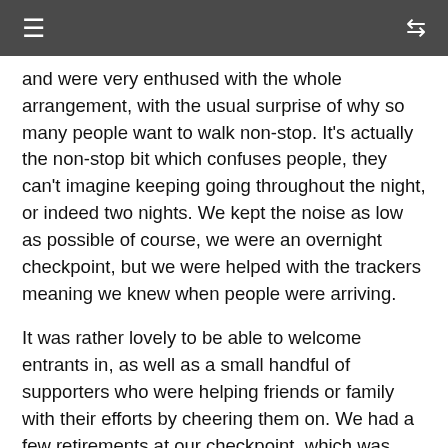≡  ⇌
and were very enthused with the whole arrangement, with the usual surprise of why so many people want to walk non-stop. It's actually the non-stop bit which confuses people, they can't imagine keeping going throughout the night, or indeed two nights. We kept the noise as low as possible of course, we were an overnight checkpoint, but we were helped with the trackers meaning we knew when people were arriving.
It was rather lovely to be able to welcome entrants in, as well as a small handful of supporters who were helping friends or family with their efforts by cheering them on. We had a few retirements at our checkpoint, which was about 40 miles in, but mostly we were able to send entrants out inspired for the